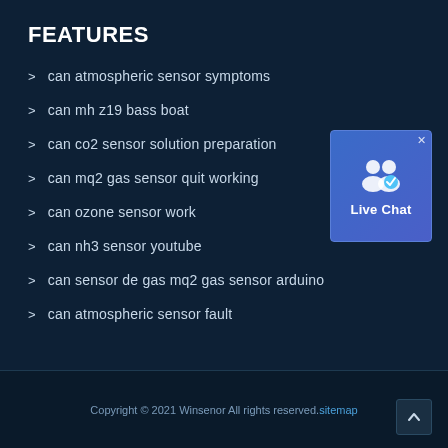FEATURES
> can atmospheric sensor symptoms
> can mh z19 bass boat
> can co2 sensor solution preparation
> can mq2 gas sensor quit working
> can ozone sensor work
> can nh3 sensor youtube
> can sensor de gas mq2 gas sensor arduino
> can atmospheric sensor fault
[Figure (illustration): Live Chat widget with two user icons and a blue background]
Copyright © 2021 Winsenor All rights reserved. sitemap